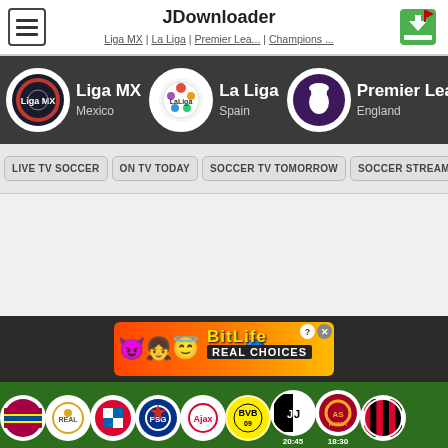JDownloader
Liga MX | La Liga | Premier Lea... | Champions ...
[Figure (screenshot): Soccer TV website screenshot showing navigation header with league logos (Liga MX - Mexico, La Liga - Spain, Premier League - England, Champions League - Europe), navigation buttons (LIVE TV SOCCER, ON TV TODAY, SOCCER TV TOMORROW, SOCCER STREAMS), an advertisement banner for BitLife Real Choices, and a bottom bar with club logos including Barcelona, Real Madrid, Bayern Munich, PSG, Ajax, BVB Dortmund, Juventus (20:45), Roma (18:30), AC Milan]